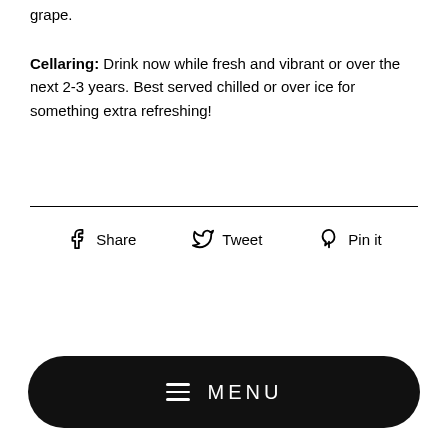grape.
Cellaring: Drink now while fresh and vibrant or over the next 2-3 years. Best served chilled or over ice for something extra refreshing!
[Figure (infographic): Social sharing icons row with Share (Facebook), Tweet (Twitter), and Pin it (Pinterest) options]
[Figure (infographic): Black pill-shaped MENU button with hamburger icon lines]